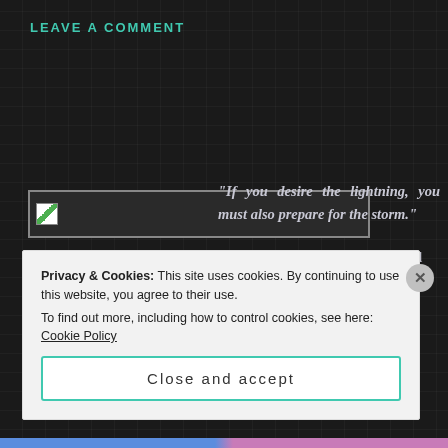LEAVE A COMMENT
[Figure (photo): Broken image placeholder input field]
“If you desire the lightning, you must also prepare for the storm.”
Az-ca’s Kings have never invaded the land of their enemy. Will a Queen be so bold?
Privacy & Cookies: This site uses cookies. By continuing to use this website, you agree to their use.
To find out more, including how to control cookies, see here: Cookie Policy
Close and accept